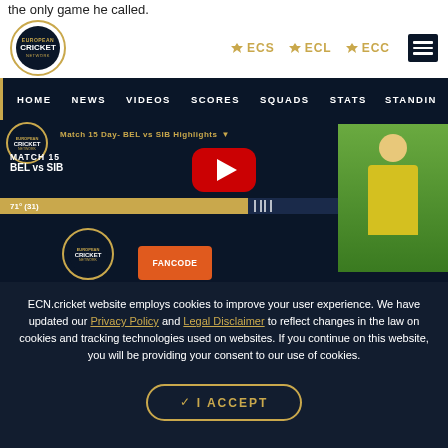the only game he called.
[Figure (screenshot): European Cricket Network website header with logo and navigation links ECS, ECL, ECC and hamburger menu]
[Figure (screenshot): Sub-navigation bar with links: HOME, NEWS, VIDEOS, SCORES, SQUADS, STATS, STANDIN]
[Figure (screenshot): Video player showing Match 15 BEL vs SIB highlights with YouTube play button, score bar showing 71° (31), a person in yellow shirt, FanCode badge and ECN logo]
ECN.cricket website employs cookies to improve your user experience. We have updated our Privacy Policy and Legal Disclaimer to reflect changes in the law on cookies and tracking technologies used on websites. If you continue on this website, you will be providing your consent to our use of cookies.
✓ I ACCEPT